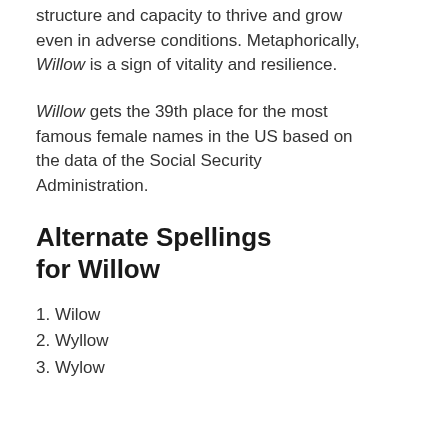structure and capacity to thrive and grow even in adverse conditions. Metaphorically, Willow is a sign of vitality and resilience.
Willow gets the 39th place for the most famous female names in the US based on the data of the Social Security Administration.
Alternate Spellings for Willow
1. Wilow
2. Wyllow
3. Wylow